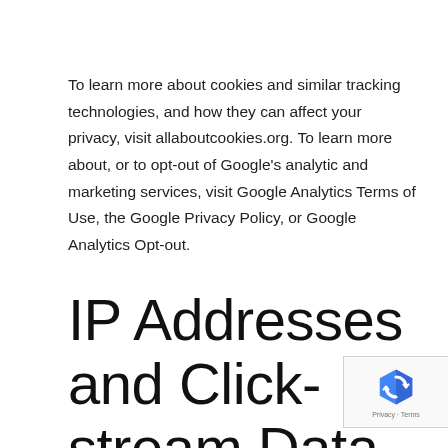To learn more about cookies and similar tracking technologies, and how they can affect your privacy, visit allaboutcookies.org. To learn more about, or to opt-out of Google's analytic and marketing services, visit Google Analytics Terms of Use, the Google Privacy Policy, or Google Analytics Opt-out.
IP Addresses and Click-stream Data